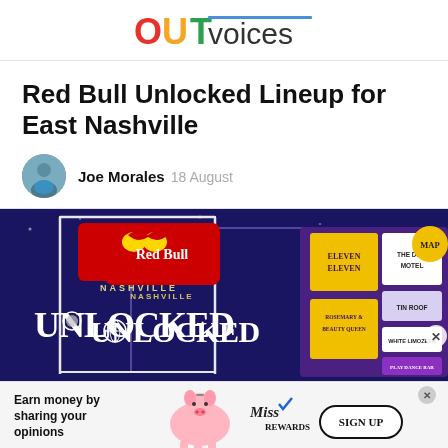OUTvoices
Red Bull Unlocked Lineup for East Nashville
Joe Morales  18 August
[Figure (illustration): Red Bull Nashville Unlocked event map banner showing venue locations including Eleven Eleven, The Dive Motel, Rosemary & Beauty Queen, Play Dance Bar, Tin Roof, White Limozeen, with a MAP button and Red Bull logo on a dark blue background]
[Figure (infographic): Advertisement banner: Earn money by sharing your opinions. Miss Rewards. SIGN UP button. Pink pig illustration.]